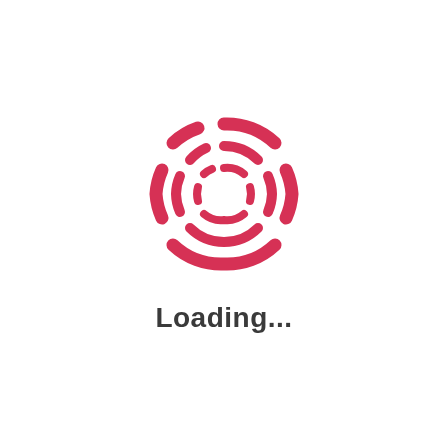[Figure (logo): A circular dashed/segmented loading spinner icon made of concentric arc segments in crimson/red color, resembling a stylized target or radar icon]
Loading...